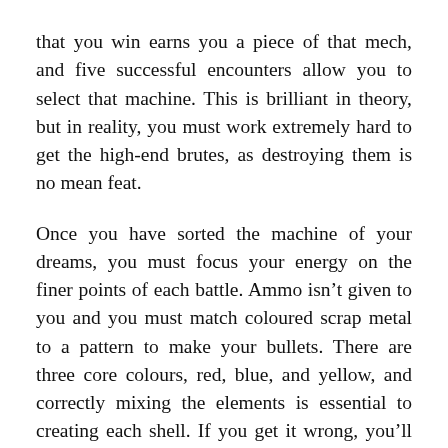that you win earns you a piece of that mech, and five successful encounters allow you to select that machine. This is brilliant in theory, but in reality, you must work extremely hard to get the high-end brutes, as destroying them is no mean feat.
Once you have sorted the machine of your dreams, you must focus your energy on the finer points of each battle. Ammo isn't given to you and you must match coloured scrap metal to a pattern to make your bullets. There are three core colours, red, blue, and yellow, and correctly mixing the elements is essential to creating each shell. If you get it wrong, you'll shoot weak pieces of scrap at your opponent that they'll simply bat away. Alongside your basic munitions, you can create upgraded missiles that